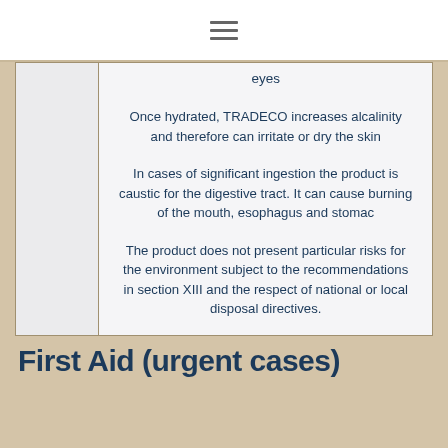eyes
Once hydrated, TRADECO increases alcalinity and therefore can irritate or dry the skin
In cases of significant ingestion the product is caustic for the digestive tract. It can cause burning of the mouth, esophagus and stomac
The product does not present particular risks for the environment subject to the recommendations in section XIII and the respect of national or local disposal directives.
First Aid (urgent cases)